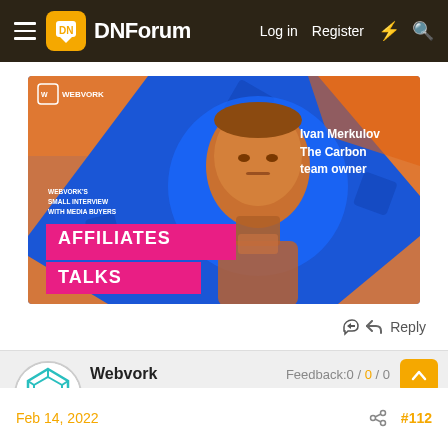DNForum — Log in  Register
[Figure (photo): Webvork promotional banner: Affiliates Talks interview with Ivan Merkulov, The Carbon team owner. Blue and orange background with man's photo. Pink/magenta banner text: AFFILIATES TALKS. Webvork's Small Interview With Media Buyers.]
Reply
Webvork  Level 4  Feedback:0 / 0 / 0
Feb 14, 2022  #112